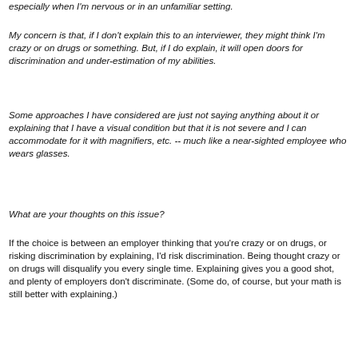especially when I'm nervous or in an unfamiliar setting.
My concern is that, if I don't explain this to an interviewer, they might think I'm crazy or on drugs or something. But, if I do explain, it will open doors for discrimination and under-estimation of my abilities.
Some approaches I have considered are just not saying anything about it or explaining that I have a visual condition but that it is not severe and I can accommodate for it with magnifiers, etc. -- much like a near-sighted employee who wears glasses.
What are your thoughts on this issue?
If the choice is between an employer thinking that you're crazy or on drugs, or risking discrimination by explaining, I'd risk discrimination. Being thought crazy or on drugs will disqualify you every single time. Explaining gives you a good shot, and plenty of employers don't discriminate. (Some do, of course, but your math is still better with explaining.)